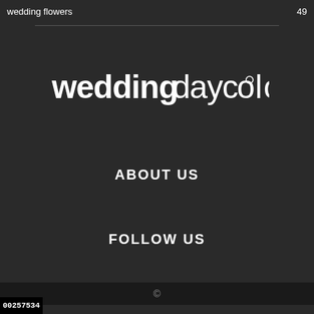wedding flowers   49
[Figure (logo): weddingdaycolors logo in decorative white font on dark background]
ABOUT US
FOLLOW US
©
00257534